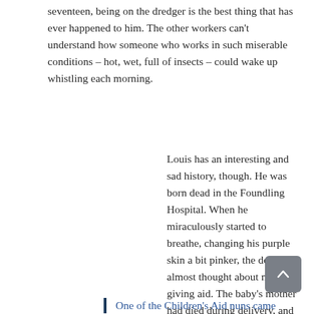seventeen, being on the dredger is the best thing that has ever happened to him. The other workers can't understand how someone who works in such miserable conditions – hot, wet, full of insects – could wake up whistling each morning.
Louis has an interesting and sad history, though. He was born dead in the Foundling Hospital. When he miraculously started to breathe, changing his purple skin a bit pinker, the doctor almost thought about not giving aid. The baby's mother had died during delivery, and who knows who she was.
One of the Children's Aid nuns came